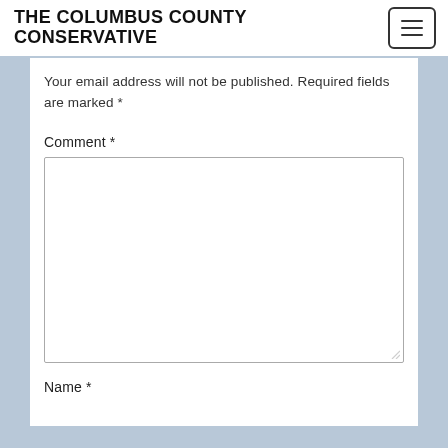THE COLUMBUS COUNTY CONSERVATIVE
Your email address will not be published. Required fields are marked *
Comment *
[Figure (other): Empty comment text area input box]
Name *